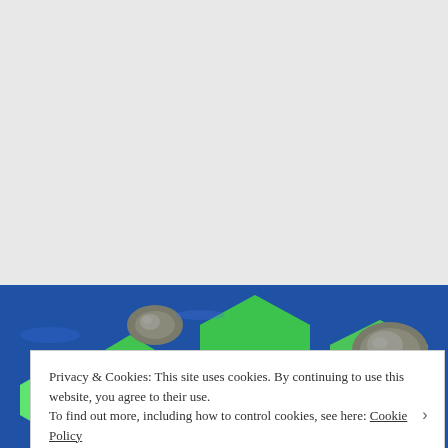[Figure (screenshot): Screenshot of a webpage showing a 3D hexagonal strategy game board with green hexagonal tiles on a blue water background, with some rocky/mountain terrain pieces. The upper portion of the page is a light gray background (the webpage content area above the image).]
Privacy & Cookies: This site uses cookies. By continuing to use this website, you agree to their use.
To find out more, including how to control cookies, see here: Cookie Policy
Close and accept